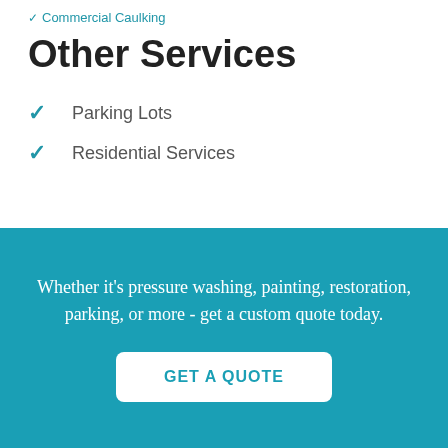Commercial Caulking
Other Services
Parking Lots
Residential Services
Whether it's pressure washing, painting, restoration, parking, or more - get a custom quote today.
GET A QUOTE